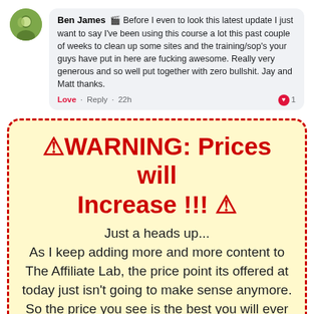Ben James 🎬 Before I even to look this latest update I just want to say I've been using this course a lot this past couple of weeks to clean up some sites and the training/sop's your guys have put in here are fucking awesome. Really very generous and so well put together with zero bullshit. Jay and Matt thanks.
Love · Reply · 22h · 1
[Figure (infographic): Warning box with dashed red border and yellow background. Contains large red bold text: ⚠WARNING: Prices will Increase !!! ⚠ followed by body text: Just a heads up... As I keep adding more and more content to The Affiliate Lab, the price point its offered at today just isn't going to make sense anymore. So the price you see is the best you will ever get. Don't delay, act now]